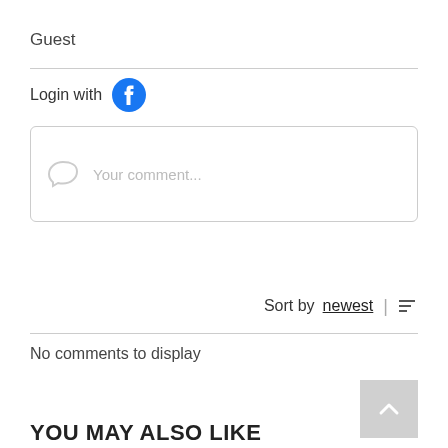Guest
Login with [Facebook icon]
[Figure (other): Comment input box with speech bubble icon and placeholder text 'Your comment...']
Send
Sort by newest
No comments to display
[Figure (other): Scroll to top button with upward chevron arrow]
YOU MAY ALSO LIKE